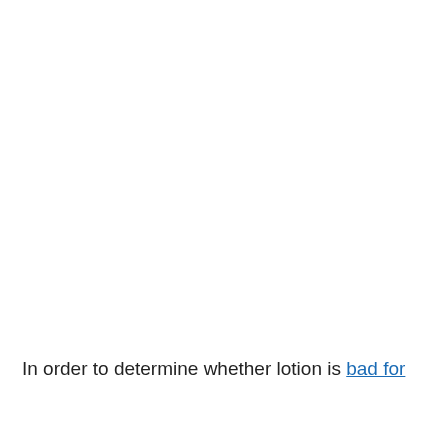In order to determine whether lotion is bad for